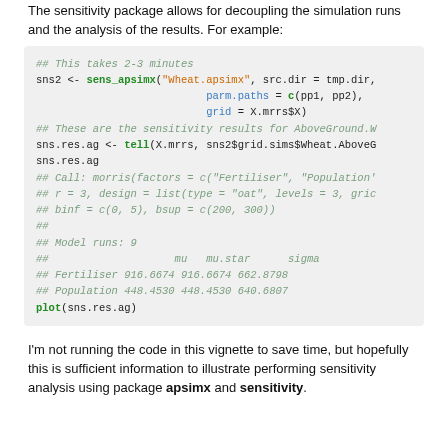The sensitivity package allows for decoupling the simulation runs and the analysis of the results. For example:
[Figure (screenshot): R code block on grey background showing sens_apsimx call, tell call, and output with morris sensitivity analysis results for Fertiliser and Population variables]
I'm not running the code in this vignette to save time, but hopefully this is sufficient information to illustrate performing sensitivity analysis using package apsimx and sensitivity.